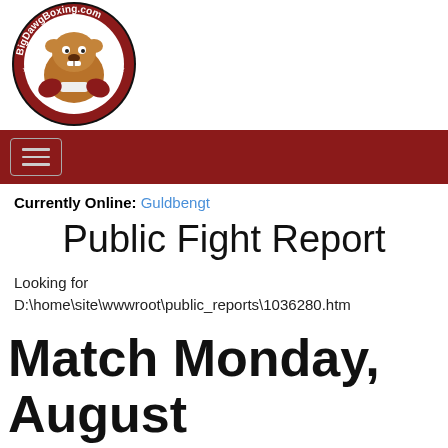[Figure (logo): BigDawgBoxing.com logo — circular badge with a bulldog boxer wearing boxing gloves, red and black border with text around the circle]
[Figure (infographic): Dark red navigation bar with hamburger menu icon (three horizontal lines in a rounded rectangle)]
Currently Online: Guldbengt
Public Fight Report
Looking for D:\home\site\wwwroot\public_reports\1036280.htm
Match Monday, August 14, 2017